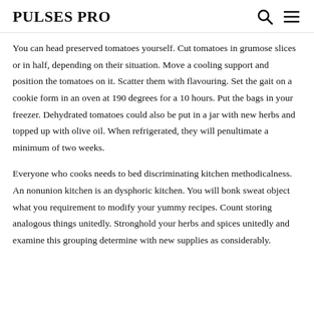PULSES PRO
You can head preserved tomatoes yourself. Cut tomatoes in grumose slices or in half, depending on their situation. Move a cooling support and position the tomatoes on it. Scatter them with flavouring. Set the gait on a cookie form in an oven at 190 degrees for a 10 hours. Put the bags in your freezer. Dehydrated tomatoes could also be put in a jar with new herbs and topped up with olive oil. When refrigerated, they will penultimate a minimum of two weeks.
Everyone who cooks needs to bed discriminating kitchen methodicalness. An nonunion kitchen is an dysphoric kitchen. You will bonk sweat object what you requirement to modify your yummy recipes. Count storing analogous things unitedly. Stronghold your herbs and spices unitedly and examine this grouping determine with new supplies as considerably.